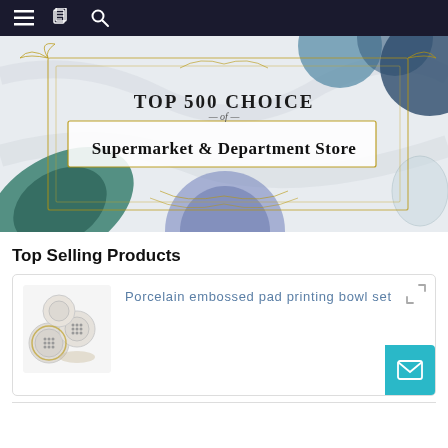Navigation bar with menu, catalog, and search icons
[Figure (illustration): Banner image with decorative gold filigree border on marble/white background. Text reads 'TOP 500 CHOICE of Supermarket & Department Store'. Decorative ceramic/porcelain plates and bowls in blue tones scattered around.]
Top Selling Products
[Figure (photo): Porcelain embossed pad printing bowl set - small circular ceramic bowls with embossed dot patterns photographed on white background]
Porcelain embossed pad printing bowl set